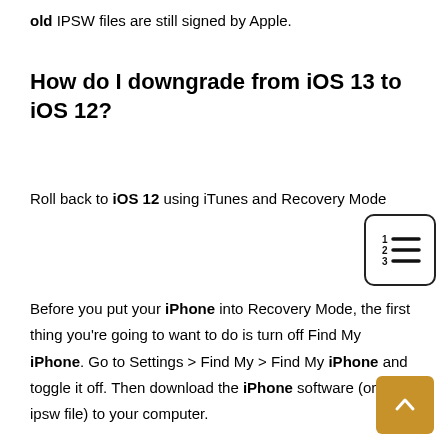old IPSW files are still signed by Apple.
How do I downgrade from iOS 13 to iOS 12?
Roll back to iOS 12 using iTunes and Recovery Mode
[Figure (illustration): Table of contents icon: numbers 1, 2, 3 with horizontal lines, inside a rounded rectangle border]
Before you put your iPhone into Recovery Mode, the first thing you're going to want to do is turn off Find My iPhone. Go to Settings > Find My > Find My iPhone and toggle it off. Then download the iPhone software (or the . ipsw file) to your computer.